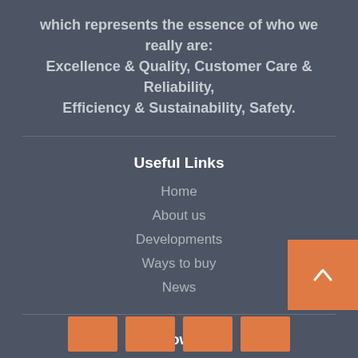which represents the essence of who we really are: Excellence & Quality, Customer Care & Reliability, Efficiency & Sustainability, Safety.
Useful Links
Home
About us
Developments
Ways to buy
News
Follow Us